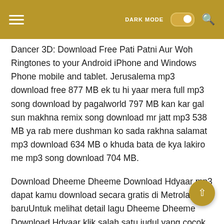DARK MODE [toggle] [search icon]
Dancer 3D: Download Free Pati Patni Aur Woh Ringtones to your Android iPhone and Windows Phone mobile and tablet. Jerusalema mp3 download free 877 MB ek tu hi yaar mera full mp3 song download by pagalworld 797 MB kan kar gal sun makhna remix song download mr jatt mp3 538 MB ya rab mere dushman ko sada rakhna salamat mp3 download 634 MB o khuda bata de kya lakiro me mp3 song download 704 MB.
Download Dheeme Dheeme Download Hdyaar mp3 dapat kamu download secara gratis di Metrolagu baruUntuk melihat detail lagu Dheeme Dheeme Download Hdyaar klik salah satu judul yang cocok kemudian untuk link download Dheeme Dheeme Download Hdyaar ada di halaman berikutnya. Get Free Ringtones downloads like Dilbara Pati Patni Aur Woh Intro send to your phone or iphone. Duji Vaar Pyar-Duji